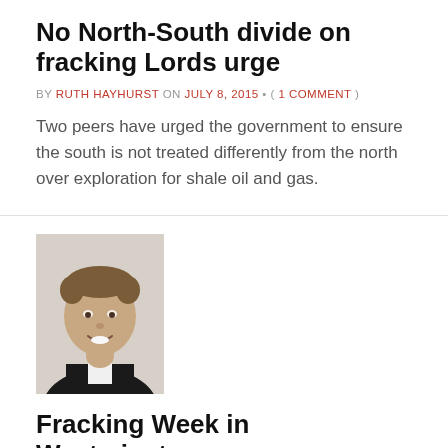No North-South divide on fracking Lords urge
BY RUTH HAYHURST ON JULY 8, 2015 • ( 1 COMMENT )
Two peers have urged the government to ensure the south is not treated differently from the north over exploration for shale oil and gas.
[Figure (photo): Headshot of a man in a suit, smiling, brown hair]
Fracking Week in Westminster – w/e 3rd July 2015